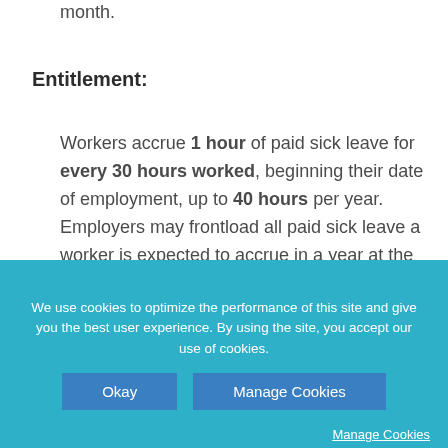month.
Entitlement:
Workers accrue 1 hour of paid sick leave for every 30 hours worked, beginning their date of employment, up to 40 hours per year. Employers may frontload all paid sick leave a worker is expected to accrue in a year at the beginning of the year. Paid sick leave carries over from one year to the next; however, use may be limited to 40 hours per year.
We use cookies to optimize the performance of this site and give you the best user experience. By using the site, you accept our use of cookies.